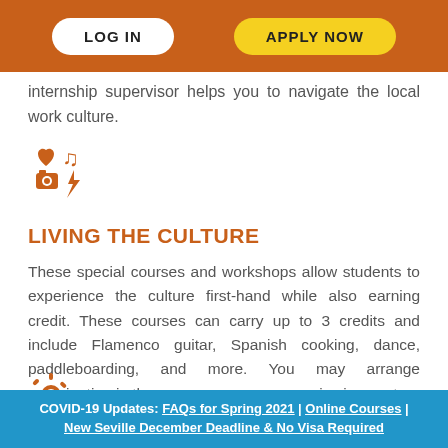LOG IN | APPLY NOW
internship supervisor helps you to navigate the local work culture.
[Figure (illustration): Orange icons: heart, music note, camera, lightning bolt arranged in a 2x2 grid]
LIVING THE CULTURE
These special courses and workshops allow students to experience the culture first-hand while also earning credit. These courses can carry up to 3 credits and include Flamenco guitar, Spanish cooking, dance, paddleboarding, and more. You may arrange participation in these courses once you arrive in country.
[Figure (illustration): Orange sun/gear icon]
COVID-19 Updates: FAQs for Spring 2021 | Online Courses | New Seville December Deadline & No Visa Required